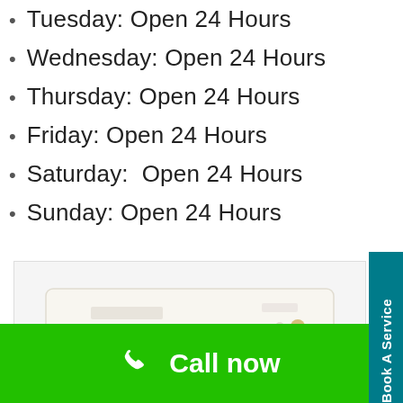Tuesday: Open 24 Hours
Wednesday: Open 24 Hours
Thursday: Open 24 Hours
Friday: Open 24 Hours
Saturday:  Open 24 Hours
Sunday: Open 24 Hours
[Figure (photo): White wall-mounted split air conditioner unit with gold/champagne accent strip]
Book A Service
Call now